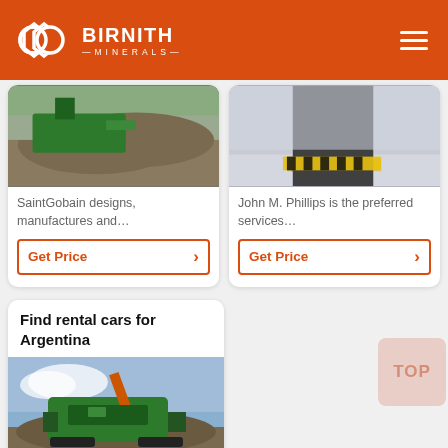[Figure (logo): Birnith Minerals logo — white hexagonal double-ring icon with white text BIRNITH MINERALS on orange background, hamburger menu icon top right]
[Figure (photo): Quarry/mining site with green machinery and dirt mound]
SaintGobain designs, manufactures and…
Get Price
[Figure (photo): Industrial equipment, black conveyor belt structure with yellow safety strips]
John M. Phillips is the preferred services…
Get Price
Find rental cars for Argentina
[Figure (photo): Green mobile jaw crusher/mining machine at outdoor quarry site]